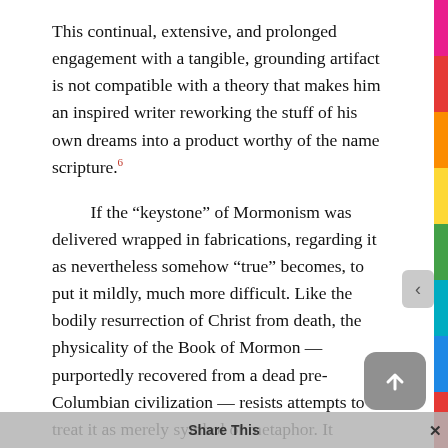This continual, extensive, and prolonged engagement with a tangible, grounding artifact is not compatible with a theory that makes him an inspired writer reworking the stuff of his own dreams into a product worthy of the name scripture.⁶
If the “keystone” of Mormonism was delivered wrapped in fabrications, regarding it as nevertheless somehow “true” becomes, to put it mildly, much more difficult. Like the bodily resurrection of Christ from death, the physicality of the Book of Mormon — purportedly recovered from a dead pre-Columbian civilization — resists attempts to treat it as merely symbol or metaphor. It forthrightly demands to be understood as literally, tangibly true. It virtually forces a sharp decision